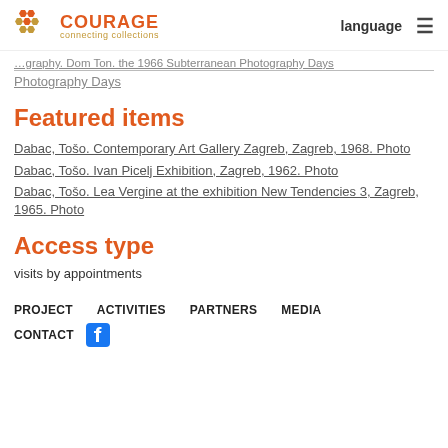COURAGE connecting collections | language
[truncated link] Photography Days
Featured items
Dabac, Tošo. Contemporary Art Gallery Zagreb, Zagreb, 1968. Photo
Dabac, Tošo. Ivan Picelj Exhibition, Zagreb, 1962. Photo
Dabac, Tošo. Lea Vergine at the exhibition New Tendencies 3, Zagreb, 1965. Photo
Access type
visits by appointments
PROJECT   ACTIVITIES   PARTNERS   MEDIA   CONTACT